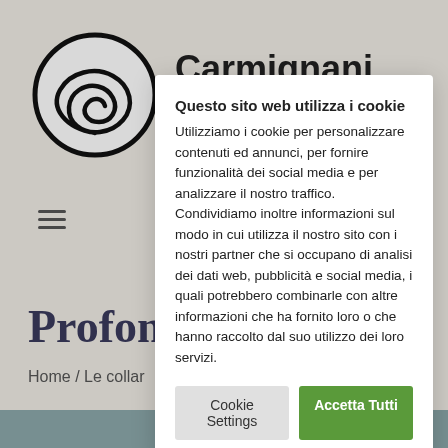[Figure (logo): Circular logo with a wave illustration in black on white background]
Carmignani
[Figure (illustration): Hamburger menu icon (three horizontal lines)]
Profon
Home / Le collar
Questo sito web utilizza i cookie Utilizziamo i cookie per personalizzare contenuti ed annunci, per fornire funzionalità dei social media e per analizzare il nostro traffico. Condividiamo inoltre informazioni sul modo in cui utilizza il nostro sito con i nostri partner che si occupano di analisi dei dati web, pubblicità e social media, i quali potrebbero combinarle con altre informazioni che ha fornito loro o che hanno raccolto dal suo utilizzo dei loro servizi.
Cookie Settings
Accetta Tutti